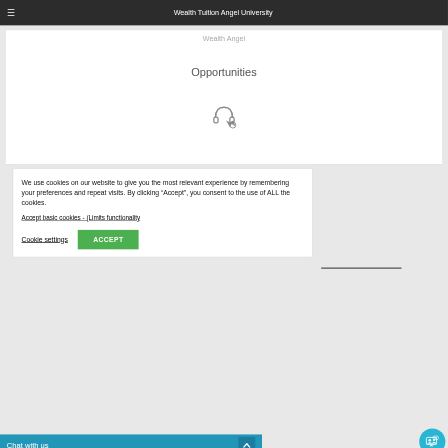Wealth Tuition Angel University
Wealth Angel
Opportunities
[Figure (illustration): Headset/headphone with cursor icon in grey]
We use cookies on our website to give you the most relevant experience by remembering your preferences and repeat visits. By clicking “Accept”, you consent to the use of ALL the cookies.
Accept basic cookies - (Limits functionality
Cookie settings
ACCEPT
Chat with us